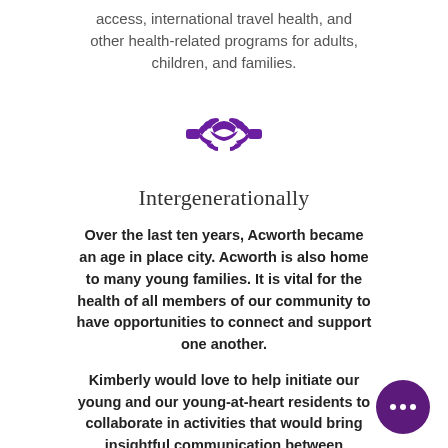access, international travel health, and other health-related programs for adults, children, and families.
[Figure (illustration): Purple handshake icon representing intergenerational partnership]
Intergenerationally
Over the last ten years, Acworth became an age in place city. Acworth is also home to many young families. It is vital for the health of all members of our community to have opportunities to connect and support one another.
Kimberly would love to help initiate our young and our young-at-heart residents to collaborate in activities that would bring insightful communication between generations.